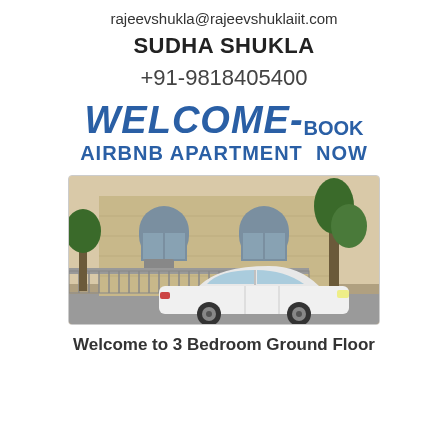rajeevshukla@rajeevshuklaiit.com
SUDHA SHUKLA
+91-9818405400
WELCOME-BOOK AIRBNB APARTMENT NOW
[Figure (photo): Exterior of a house with arched windows and a white Mercedes sedan parked in front, with trees/shrubs visible.]
Welcome to 3 Bedroom Ground Floor